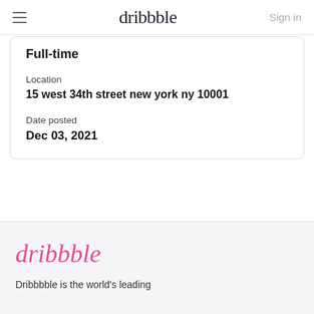dribbble  Sign in
Full-time
Location
15 west 34th street new york ny 10001
Date posted
Dec 03, 2021
[Figure (logo): Dribbble logo in pink cursive script]
Dribble is the world's leading